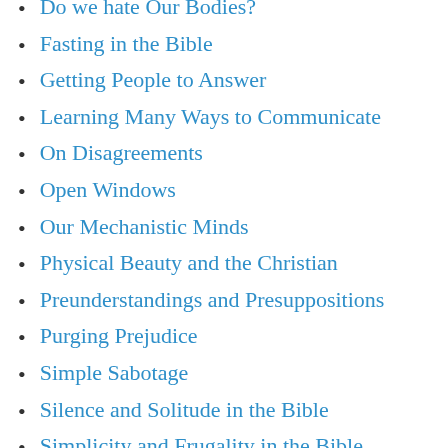Do we hate Our Bodies?
Fasting in the Bible
Getting People to Answer
Learning Many Ways to Communicate
On Disagreements
Open Windows
Our Mechanistic Minds
Physical Beauty and the Christian
Preunderstandings and Presuppositions
Purging Prejudice
Simple Sabotage
Silence and Solitude in the Bible
Simplicity and Frugality in the Bible
Slaves to the Numbers
Song of Songs - The Mystery and Majesty of Human Love
Spiritual Formation and the Nature of